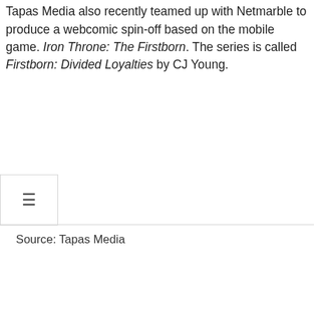Tapas Media also recently teamed up with Netmarble to produce a webcomic spin-off based on the mobile game. Iron Throne: The Firstborn. The series is called Firstborn: Divided Loyalties by CJ Young.
Source: Tapas Media
Previous Post: The Man Behind the Famous ‘Pickles’ Comic Answers 7 Emmy Questions
Next Post: Korean webcomics platform Kakao plans massive US expansion
CATEGORIES